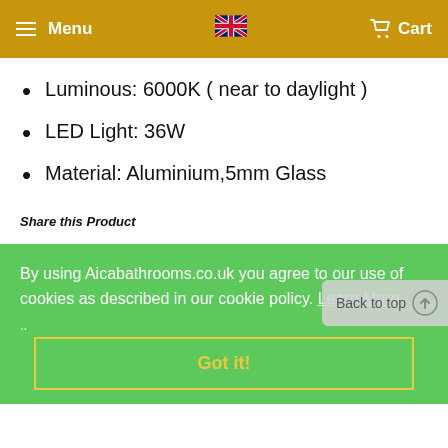Menu  [UK flag]  Cart
Luminous: 6000K ( near to daylight )
LED Light: 36W
Material: Aluminium,5mm Glass
Share this Product
By using Aicabathrooms.co.uk you agree to our use of cookies as described in our cookie policy. Learn More
Got it!